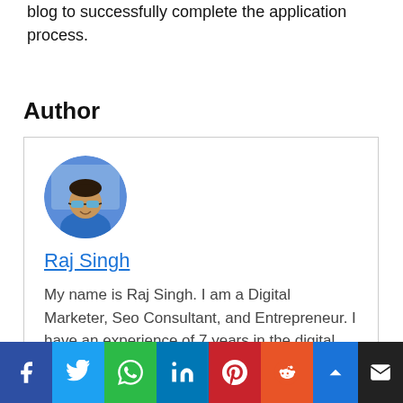blog to successfully complete the application process.
Author
[Figure (photo): Circular profile photo of Raj Singh wearing sunglasses and a blue shirt]
Raj Singh
My name is Raj Singh. I am a Digital Marketer, Seo Consultant, and Entrepreneur. I have an experience of 7 years in the digital
[Figure (infographic): Social media sharing bar with icons for Facebook, Twitter, WhatsApp, LinkedIn, Pinterest, Reddit, scroll-to-top button, and email]